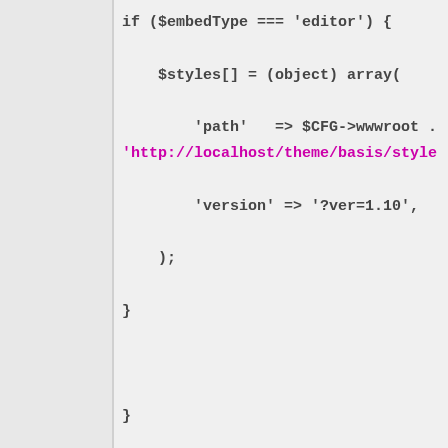[Figure (screenshot): Code snippet showing PHP code with if statement checking embedType equals editor, setting $styles[] array with path key pointing to $CFG->wwwroot concatenated with a URL 'http://localhost/theme/basis/style...' and version key '?ver=1.10', followed by closing braces.]